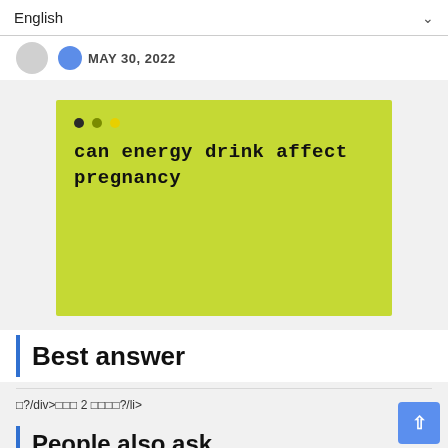English
MAY 30, 2022
[Figure (screenshot): Yellow-green terminal/code window with three dots (dark, olive, yellow) and bold monospaced text reading: can energy drink affect pregnancy]
Best answer
□?/div>□□□ 2 □□□□?/li>
People also ask